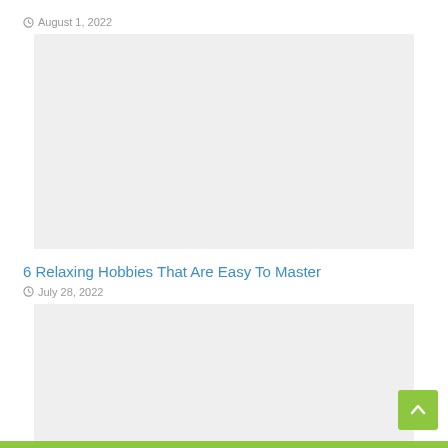August 1, 2022
[Figure (photo): Large placeholder image, light gray background]
6 Relaxing Hobbies That Are Easy To Master
July 28, 2022
[Figure (photo): Second placeholder image, light gray background]